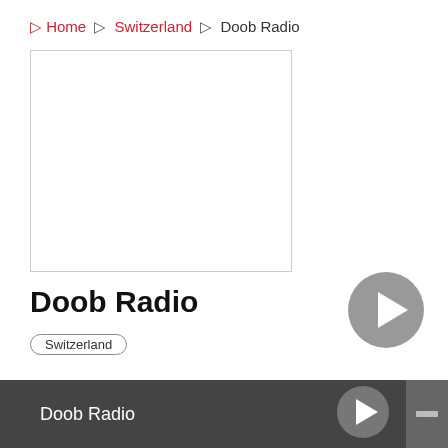Home > Switzerland > Doob Radio
[Figure (other): Empty white advertisement box with thin border]
Doob Radio
[Figure (other): Grey circular play button]
Switzerland
You May Like
SRF 2 Radio Kultur
Doob Radio [play button] [icon]